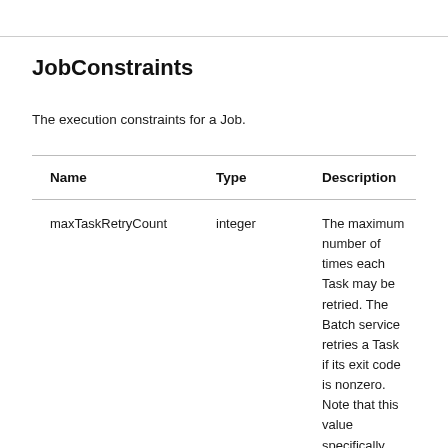JobConstraints
The execution constraints for a Job.
| Name | Type | Description |
| --- | --- | --- |
| maxTaskRetryCount | integer | The maximum number of times each Task may be retried. The Batch service retries a Task if its exit code is nonzero. Note that this value specifically controls the number of retries. The Batch service will try each Task once, and may |